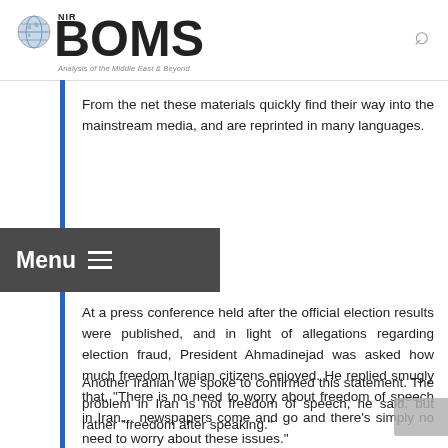NIR BOMS — Analysis of the Middle East & Beyond
From the net these materials quickly find their way into the mainstream media, and are reprinted in many languages.
At a press conference held after the official election results were published, and in light of allegations regarding election fraud, President Ahmadinejad was asked how much freedom Iranian citizens enjoyed. He replied smugly that, "There is no need to worry about freedom of speech in Iran... newspapers come and go and there's simply no need to worry about these issues."
Another Iranian we spoke to confirmed this statement. The problem in Iran is not freedom of speech, he said, but rather "freedom after speaking."